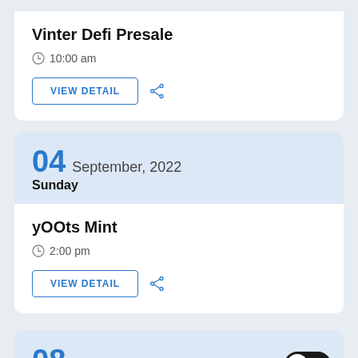Vinter Defi Presale
10:00 am
VIEW DETAIL
04 September, 2022 Sunday
yOOts Mint
2:00 pm
VIEW DETAIL
08 September, 2022